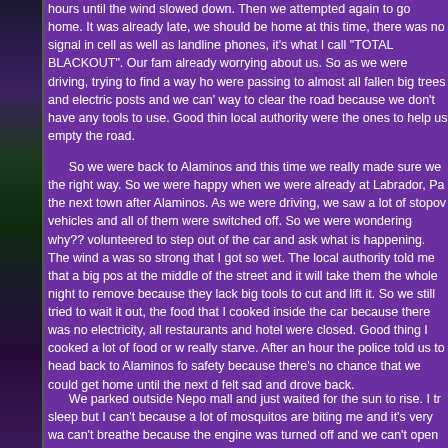[Figure (photo): Left side strip showing a dark image with purple/green tones, appears to be a person or scene with green light elements]
hours until the wind slowed down. Then we attempted again to go home. It was already late, we should be home at this time, there was no signal in cell as well as landline phones, it's what I call "TOTAL BLACKOUT". Our fam already worrying about us. So as we were driving, trying to find a way ho were passing to almost all fallen big trees and electric posts and we can' way to clear the road because we don't have any tools to use. Good thin local authority were the ones to help us empty the road.
So we were back to Alaminos and this time we really made sure we the right way. So we were happy when we were already at Labrador, Pa the next town after Alaminos. As we were driving, we saw a lot of stopov vehicles and all of them were switched off. So we were wondering why?? volunteered to step out of the car and ask what is happening. The wind a was so strong that I got so wet. The local authority told me that a big pos at the middle of the street and it will take them the whole night to remove because they lack big tools to cut and lift it. So we still tried to wait it out, the food that I cooked inside the car because there was no electricity, all restaurants and hotel were closed. Good thing I cooked a lot of food or w really starve. After an hour the police told us to head back to Alaminos fo safety because there's no chance that we could get home until the next d felt sad and drove back.
We parked outside Nepo mall and just waited for the sun to rise. I tr sleep but I can't because a lot of mosquitos are biting me and it's very wa can't breathe because the engine was turned off and we can't open the